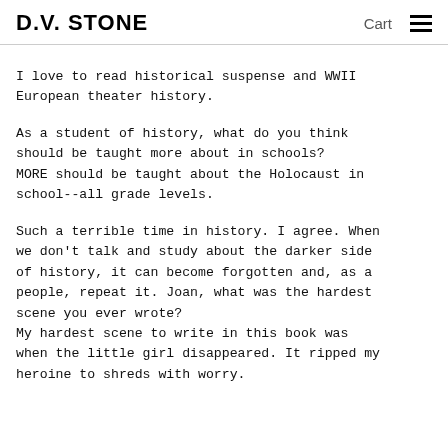D.V. STONE   Cart ☰
I love to read historical suspense and WWII European theater history.
As a student of history, what do you think should be taught more about in schools? MORE should be taught about the Holocaust in school--all grade levels.
Such a terrible time in history. I agree. When we don't talk and study about the darker side of history, it can become forgotten and, as a people, repeat it. Joan, what was the hardest scene you ever wrote?
My hardest scene to write in this book was when the little girl disappeared. It ripped my heroine to shreds with worry.